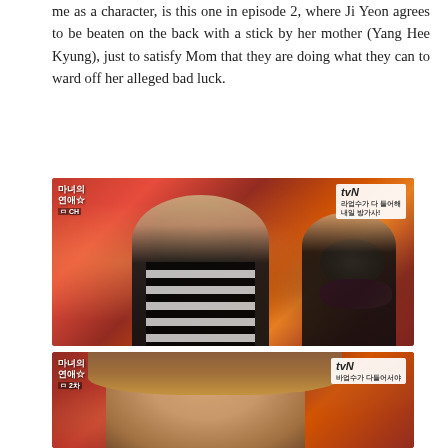me as a character, is this one in episode 2, where Ji Yeon agrees to be beaten on the back with a stick by her mother (Yang Hee Kyung), just to satisfy Mom that they are doing what they can to ward off her alleged bad luck.
[Figure (photo): Screenshot from a Korean drama (tvN broadcast) showing a woman in a black and white striped blazer sitting at a table looking downward, with an older woman behind her holding a long stick/rod and wearing a pink scarf. The setting appears to be a traditional Korean interior with red lanterns and decorative elements. tvN logo and show title overlay visible.]
[Figure (photo): Second screenshot from the same Korean drama (tvN broadcast) showing a close-up of a young woman with brown hair looking down, same setting as above. tvN logo and show title overlay visible.]